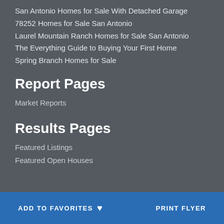San Antonio Homes for Sale With Detached Garage
78252 Homes for Sale San Antonio
Laurel Mountain Ranch Homes for Sale San Antonio
The Everything Guide to Buying Your First Home
Spring Branch Homes for Sale
Report Pages
Market Reports
Results Pages
Featured Listings
Featured Open Houses
ADD TO FAVORITES ♥   PRINT FLYER